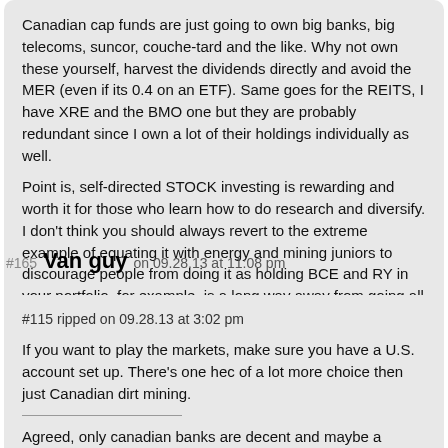Canadian cap funds are just going to own big banks, big telecoms, suncor, couche-tard and the like. Why not own these yourself, harvest the dividends directly and avoid the MER (even if its 0.4 on an ETF). Same goes for the REITS, I have XRE and the BMO one but they are probably redundant since I own a lot of their holdings individually as well.

Point is, self-directed STOCK investing is rewarding and worth it for those who learn how to do research and diversify. I don't think you should always revert to the extreme example of equating it with energy and mining juniors to discourage people from doing it as holding BCE and RY in your portfolio, for example, is a long way away from going all in on penny Gold stocks
#165 Van guy on 09.28.13 at 11:08 pm
#115 ripped on 09.28.13 at 3:02 pm

If you want to play the markets, make sure you have a U.S. account set up. There's one hec of a lot more choice then just Canadian dirt mining.

Agreed, only canadian banks are decent and maybe a couple of oil